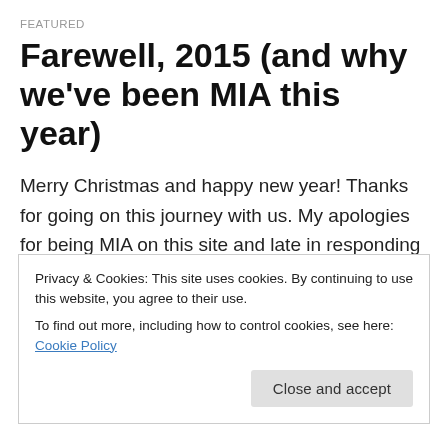FEATURED
Farewell, 2015 (and why we’ve been MIA this year)
Merry Christmas and happy new year! Thanks for going on this journey with us. My apologies for being MIA on this site and late in responding to your emails for the past few months. My husband and I moved from an apartment to a house, sprained a foot (mine), broke a foot (his) and switched jobs twice. And, we had a baby. It’s been a good year of life changes in our adopted city.
Privacy & Cookies: This site uses cookies. By continuing to use this website, you agree to their use.
To find out more, including how to control cookies, see here: Cookie Policy
Close and accept